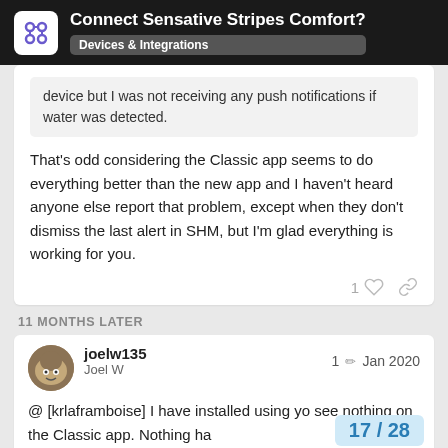Connect Sensative Stripes Comfort? Devices & Integrations
device but I was not receiving any push notifications if water was detected.
That's odd considering the Classic app seems to do everything better than the new app and I haven't heard anyone else report that problem, except when they don't dismiss the last alert in SHM, but I'm glad everything is working for you.
11 MONTHS LATER
joelw135  Joel W  1  Jan 2020
@ [krlaframboise] I have installed using yo see nothing on the Classic app. Nothing ha